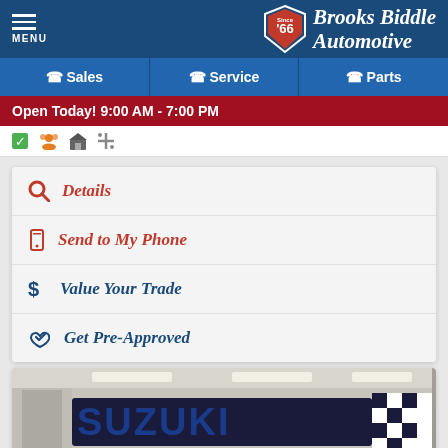MENU | Brooks Biddle Automotive Since '66
Sales
Service
Parts
Open Today! 9:00 AM - 7:00 PM
Details
Send to My Phone
Value Your Trade
Get Pre-Approved
[Figure (photo): Suzuki dealership interior with large Suzuki sign and checkered pattern banner, viewed from inside the showroom with overhead fluorescent lighting]